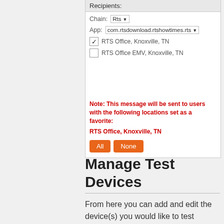[Figure (screenshot): UI dialog showing Recipients section with Chain dropdown set to 'Rts', App dropdown set to 'com.rtsdownload.rtshowtimes.rts', checkboxes for RTS Office Knoxville TN (checked) and RTS Office EMV Knoxville TN (unchecked), a note in red text, and All/None buttons.]
Manage Test Devices
From here you can add and edit the device(s) you would like to test